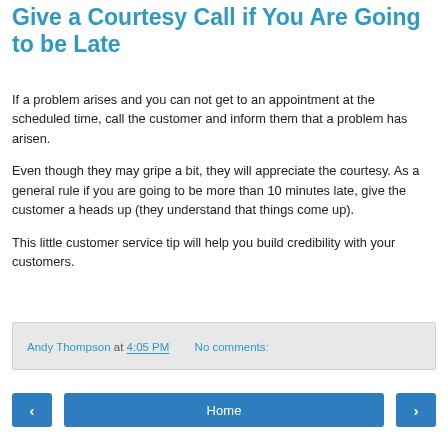Give a Courtesy Call if You Are Going to be Late
If a problem arises and you can not get to an appointment at the scheduled time, call the customer and inform them that a problem has arisen.
Even though they may gripe a bit, they will appreciate the courtesy. As a general rule if you are going to be more than 10 minutes late, give the customer a heads up (they understand that things come up).
This little customer service tip will help you build credibility with your customers.
Andy Thompson at 4:05 PM   No comments: